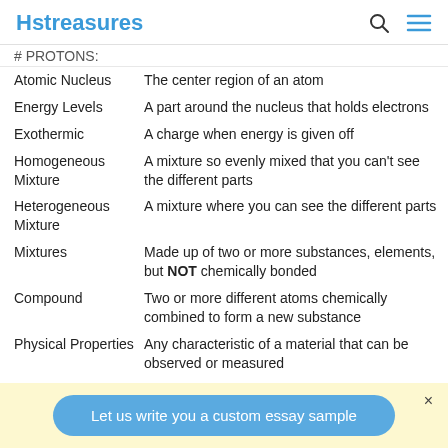Hstreasures
# PROTONS:
| Term | Definition |
| --- | --- |
| Atomic Nucleus | The center region of an atom |
| Energy Levels | A part around the nucleus that holds electrons |
| Exothermic | A charge when energy is given off |
| Homogeneous Mixture | A mixture so evenly mixed that you can't see the different parts |
| Heterogeneous Mixture | A mixture where you can see the different parts |
| Mixtures | Made up of two or more substances, elements, but NOT chemically bonded |
| Compound | Two or more different atoms chemically combined to form a new substance |
| Physical Properties | Any characteristic of a material that can be observed or measured |
Let us write you a custom essay sample